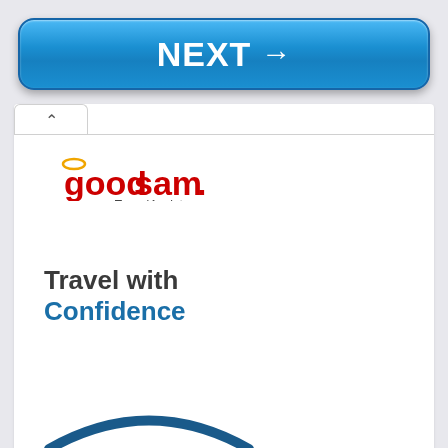[Figure (screenshot): Blue NEXT button with right arrow]
[Figure (logo): Good Sam TravelAssist logo with red text and halo symbol]
Travel with Confidence
[Figure (illustration): Partial dark blue arch graphic at bottom of page]